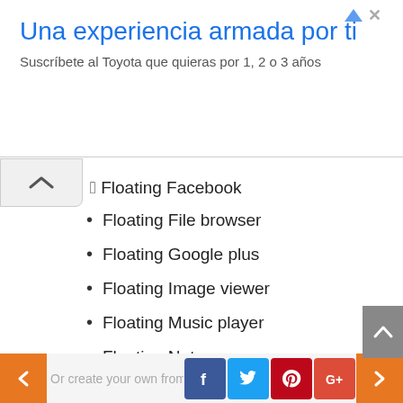[Figure (screenshot): Advertisement banner with Toyota branding. Title: 'Una experiencia armada por ti'. Subtitle: 'Suscríbete al Toyota que quieras por 1, 2 o 3 años']
Floating Facebook
Floating File browser
Floating Google plus
Floating Image viewer
Floating Music player
Floating Notes
Floating PDF viewer
Floating Task Killer
Floating Translate
Floating Twitter
Floating Vimeo
Floating Wifi manager
Floating Youtube
Or create your own from home screen widgets ...